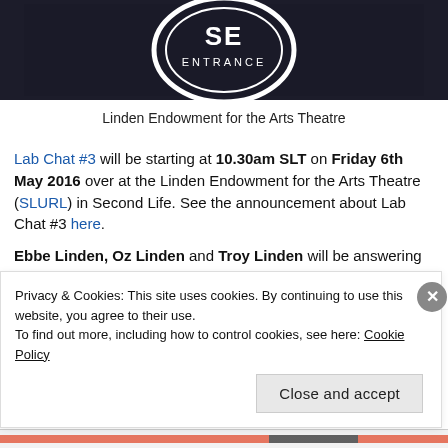[Figure (photo): Dark background image showing a sign or mat with 'SE ENTRANCE' text inside an oval/circle logo, placed at an entrance]
Linden Endowment for the Arts Theatre
Lab Chat #3 will be starting at 10.30am SLT on Friday 6th May 2016 over at the Linden Endowment for the Arts Theatre (SLURL) in Second Life. See the announcement about Lab Chat #3 here.
Ebbe Linden, Oz Linden and Troy Linden will be answering questions on Second Life and Project Sansar etc. It's going to be interesting to hear the
Privacy & Cookies: This site uses cookies. By continuing to use this website, you agree to their use.
To find out more, including how to control cookies, see here: Cookie Policy
Close and accept